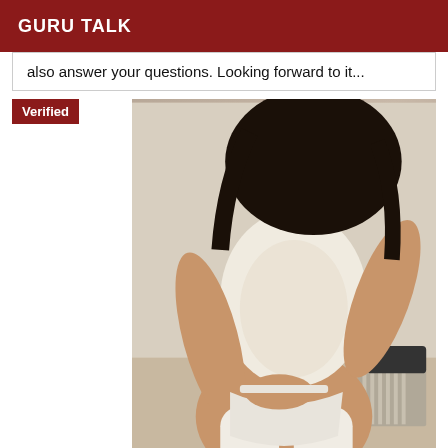GURU TALK
also answer your questions. Looking forward to it...
Verified
[Figure (photo): A person wearing white lace lingerie and white stockings posing in a bedroom setting]